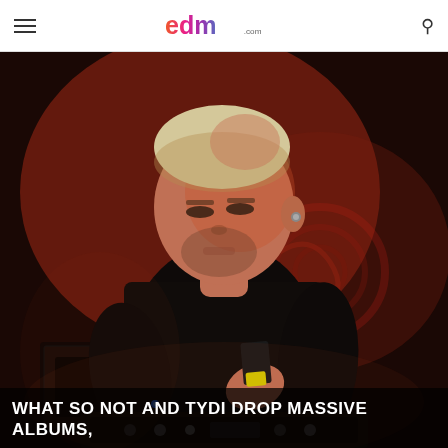EDM.com
[Figure (photo): DJ performing on stage, wearing a black t-shirt with bleached/blonde hair, looking down at equipment, lit by red stage lighting with dark background]
WHAT SO NOT AND TYDI DROP MASSIVE ALBUMS,